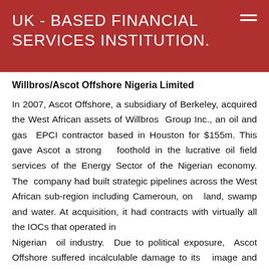UK - BASED FINANCIAL SERVICES INSTITUTION.
Willbros/Ascot Offshore Nigeria Limited
In 2007, Ascot Offshore, a subsidiary of Berkeley, acquired the West African assets of Willbros Group Inc., an oil and gas EPCI contractor based in Houston for $155m. This gave Ascot a strong foothold in the lucrative oil field services of the Energy Sector of the Nigerian economy. The company had built strategic pipelines across the West African sub-region including Cameroun, on land, swamp and water. At acquisition, it had contracts with virtually all the IOCs that operated in Nigerian oil industry. Due to political exposure, Ascot Offshore suffered incalculable damage to its image and lost deals, but as a result AMCON, Berkeley still holds a 5%